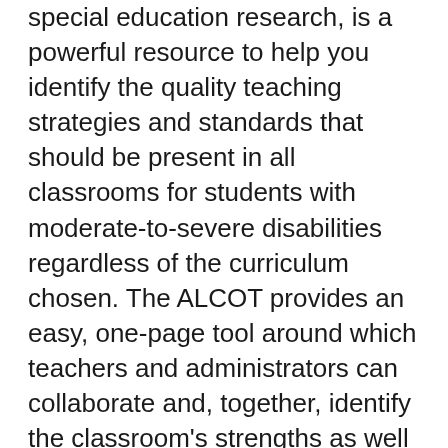special education research, is a powerful resource to help you identify the quality teaching strategies and standards that should be present in all classrooms for students with moderate-to-severe disabilities regardless of the curriculum chosen. The ALCOT provides an easy, one-page tool around which teachers and administrators can collaborate and, together, identify the classroom's strengths as well as areas for improvement. Districts ensure fidelity to quality special education services when they routinely use ALCOT! The ALCOT One Classroom License includes the ALCOT Guidebook, one tablet (40 copies) of the ALCOT Checklist, one tablet of the ALCOT Implementation Plan, and a downloadable PDF for printouts. The Assessment Plus iPad App is